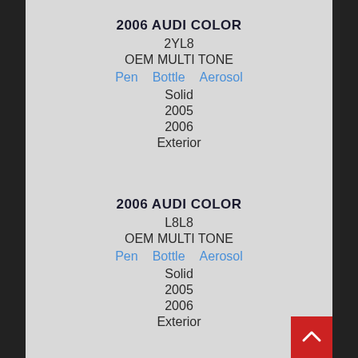2006 AUDI COLOR
2YL8
OEM MULTI TONE
Pen   Bottle   Aerosol
Solid
2005
2006
Exterior
2006 AUDI COLOR
L8L8
OEM MULTI TONE
Pen   Bottle   Aerosol
Solid
2005
2006
Exterior
2006 AUDI COLOR
LR9A